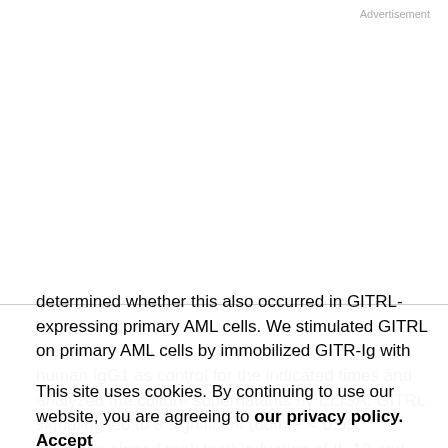Advertisement
determined whether this also occurred in GITRL-expressing primary AML cells. We stimulated GITRL on primary AML cells by immobilized GITR-Ig with human IgG1 as control for the indicated times and analyzed the culture supernatants by ELISA. GITRL signaling led to a significant (both P < 0.05, Wilcoxon-signed rank test) induction of IL-10 and TNF by AML cells, whereas isotype control had no effect. Of note, enhanced cytokine production and GITRL stimulation was not only observed with AML cells of monocytic differentiation but also with cells of undifferentiated FAB types (Fig. 5A and B).
This site uses cookies. By continuing to use our website, you are agreeing to our privacy policy. Accept